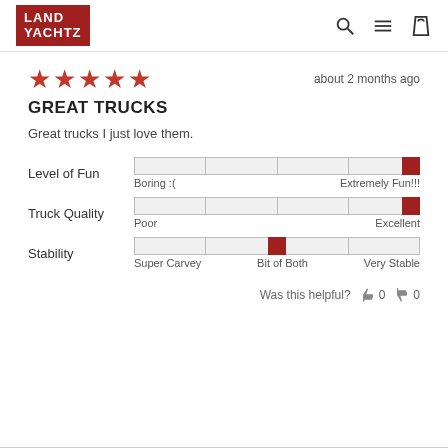LAND YACHTZ
★★★★★  about 2 months ago
GREAT TRUCKS
Great trucks I just love them.
[Figure (infographic): Three rating sliders: Level of Fun (Boring :( to Extremely Fun!!!) with indicator at maximum; Truck Quality (Poor to Excellent) with indicator at maximum; Stability (Super Carvey to Very Stable via Bit of Both) with indicator at middle.]
Was this helpful?  0  0